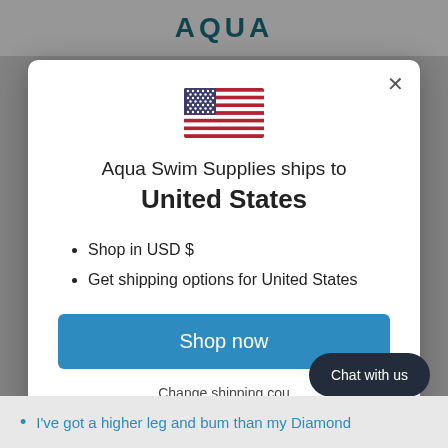AQUA
[Figure (illustration): US flag SVG illustration]
Aqua Swim Supplies ships to
United States
Shop in USD $
Get shipping options for United States
Shop now
Change shipping cou…
Chat with us
I've got a higher leg and bum than my Diamond